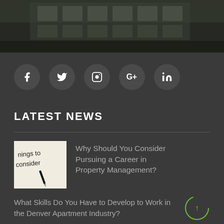[Figure (photo): Dark hero image showing a building/architectural exterior, dark overlay applied]
[Figure (infographic): Row of social media icons: Facebook, Twitter, Instagram, Google+, LinkedIn — white icons on dark circular backgrounds]
LATEST NEWS
Why Should You Consider Pursuing a Career in Property Management?
What Skills Do You Have to Develop to Work in the Denver Apartment Industry?